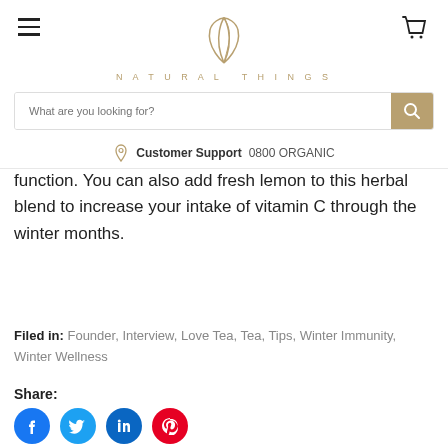Natural Things — navigation header with logo, search bar, and customer support
function. You can also add fresh lemon to this herbal blend to increase your intake of vitamin C through the winter months.
Filed in: Founder, Interview, Love Tea, Tea, Tips, Winter Immunity, Winter Wellness
Share: